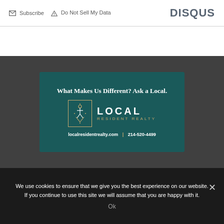Subscribe   Do Not Sell My Data   DISQUS
[Figure (illustration): Local Resident Realty advertisement banner on dark teal background. Text: 'What Makes Us Different? Ask a Local.' Logo with stylized icon in gold-bordered box, text 'LOCAL RESIDENT REALTY'. Contact: localresidentrealty.com | 214-520-4499]
We use cookies to ensure that we give you the best experience on our website. If you continue to use this site we will assume that you are happy with it.
Ok